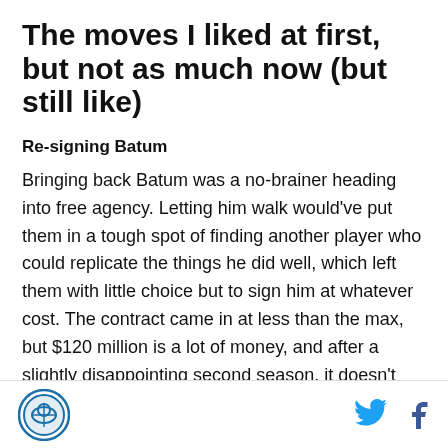The moves I liked at first, but not as much now (but still like)
Re-signing Batum
Bringing back Batum was a no-brainer heading into free agency. Letting him walk would've put them in a tough spot of finding another player who could replicate the things he did well, which left them with little choice but to sign him at whatever cost. The contract came in at less than the max, but $120 million is a lot of money, and after a slightly disappointing second season, it doesn't look quite as good of a decision. But, as I said in my season review, the contract should look better by comparison once free agency ends this summer, and contracts as high as
[Figure (logo): Circular logo with blue border and icon, site branding]
[Figure (logo): Twitter bird icon in blue]
[Figure (logo): Facebook f icon in dark blue]